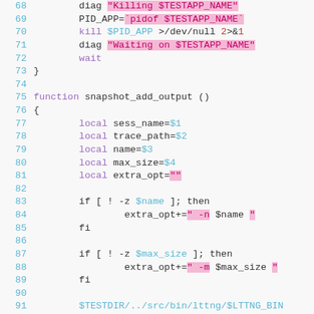[Figure (screenshot): Shell script code snippet showing lines 68-91 with syntax highlighting. Purple keywords (local, function), blue variables ($1, $2, etc.), pink highlighted strings, and blue line numbers.]